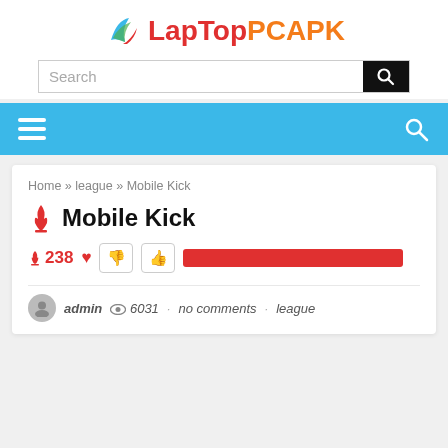[Figure (logo): LapTopPCAPK logo with flame/swoosh icon and brand name in red and orange]
[Figure (screenshot): Search bar with text input and black search button]
Navigation bar with hamburger menu and search icon
Home » league » Mobile Kick
Mobile Kick
238 (rating with thumbs down, thumbs up buttons and red progress bar)
admin · 6031 · no comments · league